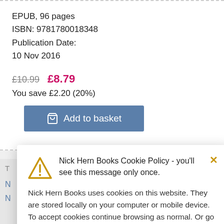EPUB, 96 pages
ISBN: 9781780018348
Publication Date:
10 Nov 2016
£10.99  £8.79
You save £2.20 (20%)
Add to basket
[Figure (screenshot): Cookie policy popup dialog with warning triangle icon. Title: 'Nick Hern Books Cookie Policy - you''ll see this message only once.' Body: 'Nick Hern Books uses cookies on this website. They are stored locally on your computer or mobile device. To accept cookies continue browsing as normal. Or go to the cookie policy for more information and preferences.' Close button (×) in top right corner.]